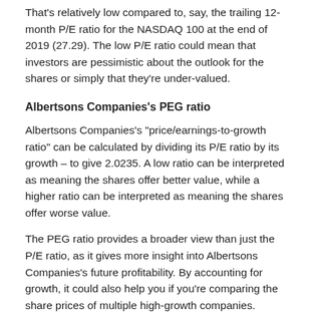That's relatively low compared to, say, the trailing 12-month P/E ratio for the NASDAQ 100 at the end of 2019 (27.29). The low P/E ratio could mean that investors are pessimistic about the outlook for the shares or simply that they're under-valued.
Albertsons Companies's PEG ratio
Albertsons Companies's "price/earnings-to-growth ratio" can be calculated by dividing its P/E ratio by its growth – to give 2.0235. A low ratio can be interpreted as meaning the shares offer better value, while a higher ratio can be interpreted as meaning the shares offer worse value.
The PEG ratio provides a broader view than just the P/E ratio, as it gives more insight into Albertsons Companies's future profitability. By accounting for growth, it could also help you if you're comparing the share prices of multiple high-growth companies.